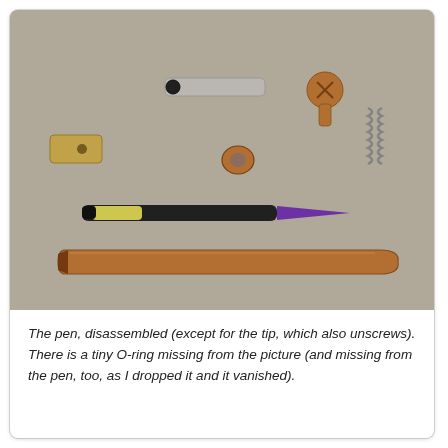[Figure (photo): A disassembled copper/brass pen laid out on a grey surface. Components visible include: a small brass cylinder (cap or barrel section) with a hole, a flat silver clip, a small black ring, a copper-toned screw/bolt, a copper nut/ring, a small metal coil spring, a pen refill/ink cartridge (black body with yellow section and purple tip), and the main copper pen barrel with an angled tip opening.]
The pen, disassembled (except for the tip, which also unscrews). There is a tiny O-ring missing from the picture (and missing from the pen, too, as I dropped it and it vanished).